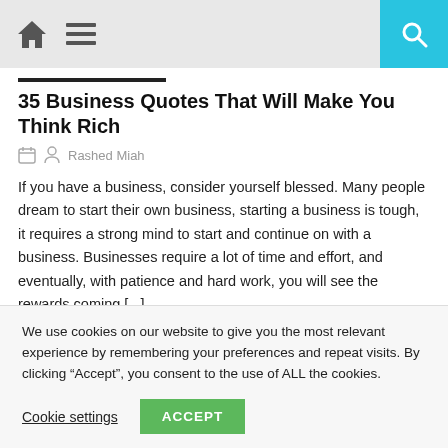Navigation bar with home icon, menu icon, and search button
35 Business Quotes That Will Make You Think Rich
Rashed Miah
If you have a business, consider yourself blessed. Many people dream to start their own business, starting a business is tough, it requires a strong mind to start and continue on with a business. Businesses require a lot of time and effort, and eventually, with patience and hard work, you will see the rewards coming [...]
We use cookies on our website to give you the most relevant experience by remembering your preferences and repeat visits. By clicking “Accept”, you consent to the use of ALL the cookies.
Cookie settings   ACCEPT